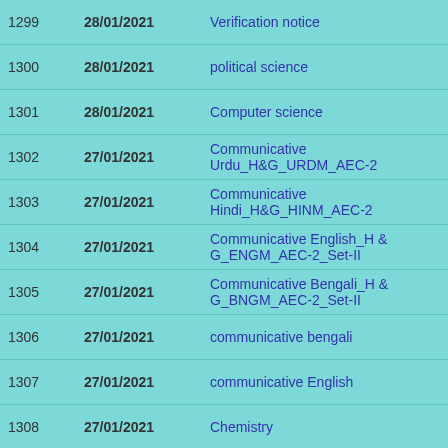| # | Date | Subject |  |
| --- | --- | --- | --- |
| 1299 | 28/01/2021 | Verification notice | 📢 |
| 1300 | 28/01/2021 | political science | 📢 |
| 1301 | 28/01/2021 | Computer science | 📢 |
| 1302 | 27/01/2021 | Communicative Urdu_H&G_URDM_AEC-2 | 📢 |
| 1303 | 27/01/2021 | Communicative Hindi_H&G_HINM_AEC-2 | 📢 |
| 1304 | 27/01/2021 | Communicative English_H & G_ENGM_AEC-2_Set-II | 📢 |
| 1305 | 27/01/2021 | Communicative Bengali_H & G_BNGM_AEC-2_Set-II | 📢 |
| 1306 | 27/01/2021 | communicative bengali | 📢 |
| 1307 | 27/01/2021 | communicative English | 📢 |
| 1308 | 27/01/2021 | Chemistry | 📢 |
| 1309 | 27/01/2021 | Education | 📢 |